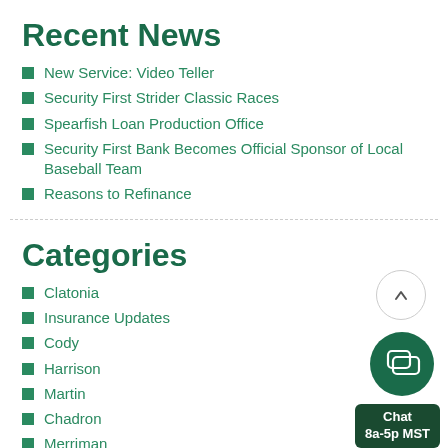Recent News
New Service: Video Teller
Security First Strider Classic Races
Spearfish Loan Production Office
Security First Bank Becomes Official Sponsor of Local Baseball Team
Reasons to Refinance
Categories
Clatonia
Insurance Updates
Cody
Harrison
Martin
Chadron
Merriman
[Figure (other): Scroll-to-top button (circle with upward arrow) and chat widget button (dark green circle with speech bubble icon) with label 'Chat 8a-5p MST']